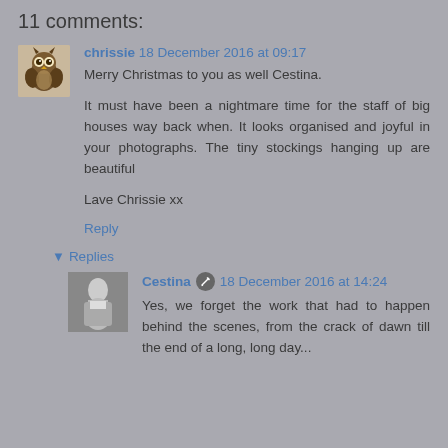11 comments:
chrissie 18 December 2016 at 09:17
Merry Christmas to you as well Cestina.

It must have been a nightmare time for the staff of big houses way back when. It looks organised and joyful in your photographs. The tiny stockings hanging up are beautiful

Lave Chrissie xx

Reply
▼ Replies
Cestina 18 December 2016 at 14:24
Yes, we forget the work that had to happen behind the scenes, from the crack of dawn till the end of a long, long day...